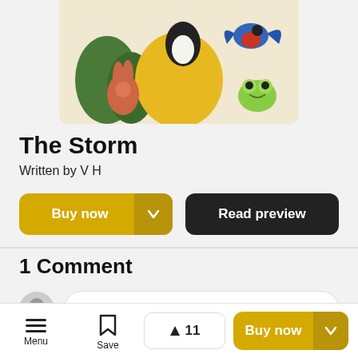[Figure (illustration): Book cover illustration showing colorful animals: a rabbit, a large yellow character, a bird, a frog, and other creatures on a light beige background]
The Storm
Written by V H
Buy now
Read preview
1 Comment
Write a comment...
Menu   Save   ▲ 11   Buy now